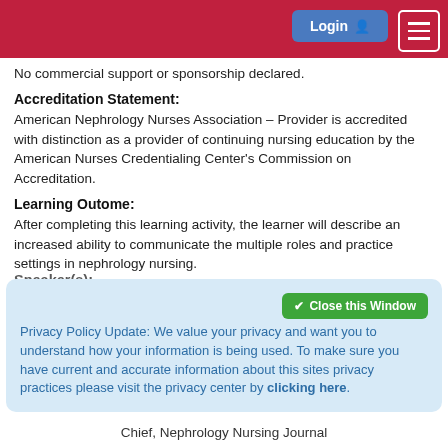Login  ☰
No commercial support or sponsorship declared.
Accreditation Statement:
American Nephrology Nurses Association – Provider is accredited with distinction as a provider of continuing nursing education by the American Nurses Credentialing Center's Commission on Accreditation.
Learning Outome:
After completing this learning activity, the learner will describe an increased ability to communicate the multiple roles and practice settings in nephrology nursing.
Speaker(s):
Privacy Policy Update: We value your privacy and want you to understand how your information is being used. To make sure you have current and accurate information about this sites privacy practices please visit the privacy center by clicking here.
Chief, Nephrology Nursing Journal